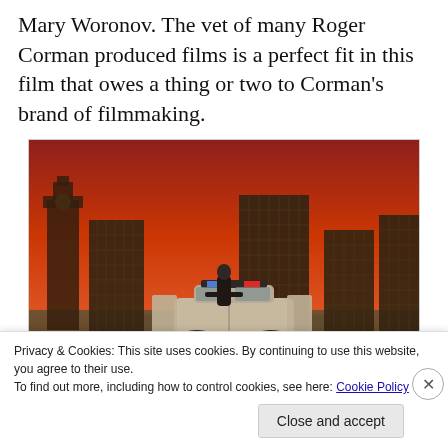Mary Woronov. The vet of many Roger Corman produced films is a perfect fit in this film that owes a thing or two to Corman's brand of filmmaking.
[Figure (photo): A movie scene showing a person in dark clothing leaning against a police car on a deserted road, with tall city skyscrapers in the background under a dramatic red-orange sky.]
The film does have a few missteps, chief among them is the scene where Chocotav...I mean Hector.
Privacy & Cookies: This site uses cookies. By continuing to use this website, you agree to their use.
To find out more, including how to control cookies, see here: Cookie Policy
Close and accept